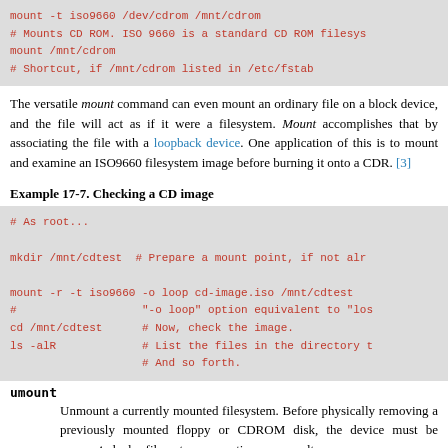[Figure (screenshot): Code block showing mount commands for CD ROM with ISO 9660 filesystem]
The versatile mount command can even mount an ordinary file on a block device, and the file will act as if it were a filesystem. Mount accomplishes that by associating the file with a loopback device. One application of this is to mount and examine an ISO9660 filesystem image before burning it onto a CDR. [3]
Example 17-7. Checking a CD image
[Figure (screenshot): Code block showing commands to check a CD image using mount with loop option]
umount
Unmount a currently mounted filesystem. Before physically removing a previously mounted floppy or CDROM disk, the device must be umounted, else filesystem corruption may result.
[Figure (screenshot): Code block showing umount /mnt/cdrom command (partially visible)]